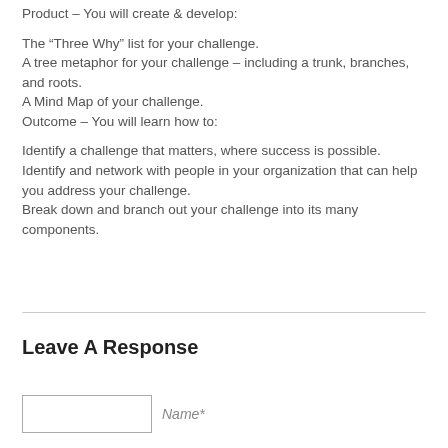Product – You will create & develop:
The “Three Why” list for your challenge.
A tree metaphor for your challenge – including a trunk, branches, and roots.
A Mind Map of your challenge.
Outcome – You will learn how to:
Identify a challenge that matters, where success is possible.
Identify and network with people in your organization that can help you address your challenge.
Break down and branch out your challenge into its many components.
Leave A Response
Name*